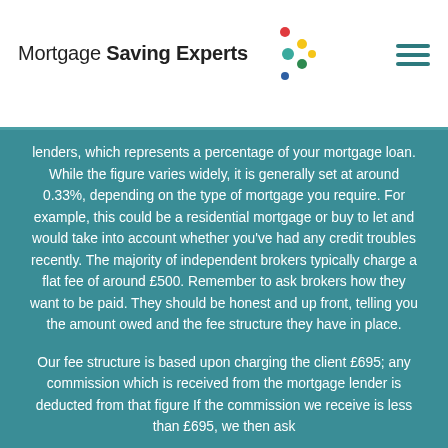Mortgage Saving Experts
lenders, which represents a percentage of your mortgage loan. While the figure varies widely, it is generally set at around 0.33%, depending on the type of mortgage you require. For example, this could be a residential mortgage or buy to let and would take into account whether you've had any credit troubles recently. The majority of independent brokers typically charge a flat fee of around £500. Remember to ask brokers how they want to be paid. They should be honest and up front, telling you the amount owed and the fee structure they have in place.
Our fee structure is based upon charging the client £695; any commission which is received from the mortgage lender is deducted from that figure If the commission we receive is less than £695, we then ask